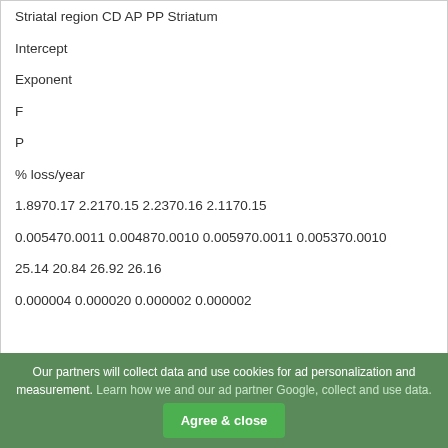| Striatal region CD AP PP Striatum |
| --- |
| Intercept |  |
| Exponent |  |
| F |  |
| P |  |
| % loss/year |  |
| 1.897 0.17 2.217 0.15 2.237 0.16 2.117 0.15 |  |
| 0.005470.0011 0.004870.0010 0.005970.0011 0.005370.0010 |  |
| 25.14 20.84 26.92 26.16 |  |
| 0.000004 0.000020 0.000002 0.000002 |  |
Our partners will collect data and use cookies for ad personalization and measurement. Learn how we and our ad partner Google, collect and use data.